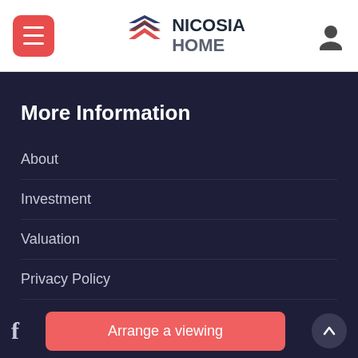Nicosia Home – site header with menu button, logo, and user icon
More Information
About
Investment
Valuation
Privacy Policy
Terms and Condition
Contact
Arrange a viewing